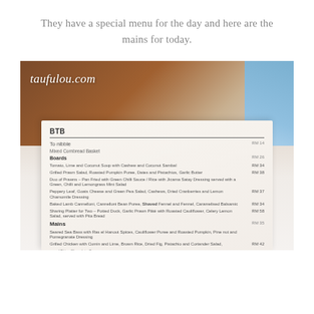They have a special menu for the day and here are the mains for today.
[Figure (photo): Photo of a restaurant menu on a table. The menu shows 'BTB' heading with sections including 'To nibble' and 'Mains'. The watermark 'taufulou.com' appears in the top-left corner of the photo. Menu items visible include Seared Sea Bass, Grilled Chicken, and various starters. Prices shown in RM.]